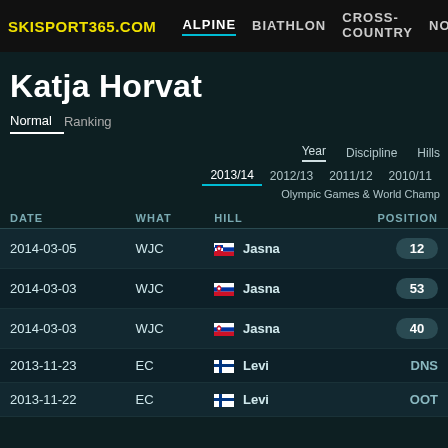SKISPORT365.COM  ALPINE  BIATHLON  CROSS-COUNTRY  NOR.CO
Katja Horvat
Normal  Ranking
Year  Discipline  Hills
2013/14  2012/13  2011/12  2010/11
Olympic Games & World Champ
| DATE | WHAT | HILL | POSITION |
| --- | --- | --- | --- |
| 2014-03-05 | WJC | Jasna | 12 |
| 2014-03-03 | WJC | Jasna | 53 |
| 2014-03-03 | WJC | Jasna | 40 |
| 2013-11-23 | EC | Levi | DNS |
| 2013-11-22 | EC | Levi | OOT |